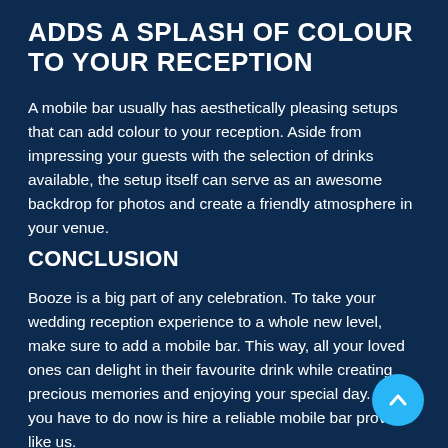ADDS A SPLASH OF COLOUR TO YOUR RECEPTION
A mobile bar usually has aesthetically pleasing setups that can add colour to your reception. Aside from impressing your guests with the selection of drinks available, the setup itself can serve as an awesome backdrop for photos and create a friendly atmosphere in your venue.
CONCLUSION
Booze is a big part of any celebration. To take your wedding reception experience to a whole new level, make sure to add a mobile bar. This way, all your loved ones can delight in their favourite drink while creating precious memories and enjoying your special day. All you have to do now is hire a reliable mobile bar provider like us.